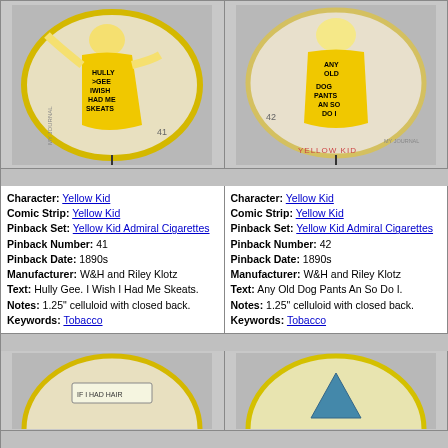[Figure (photo): Circular pinback button #41 showing Yellow Kid character in yellow outfit with text 'Hully Gee I Wish I Had Me Skeats', on gray background]
[Figure (photo): Circular pinback button #42 showing Yellow Kid character in yellow outfit with text 'Any Old Dog Pants An So Do I', on gray background, labeled YELLOW KID]
Character: Yellow Kid
Comic Strip: Yellow Kid
Pinback Set: Yellow Kid Admiral Cigarettes
Pinback Number: 41
Pinback Date: 1890s
Manufacturer: W&H and Riley Klotz
Text: Hully Gee. I Wish I Had Me Skeats.
Notes: 1.25" celluloid with closed back.
Keywords: Tobacco
Character: Yellow Kid
Comic Strip: Yellow Kid
Pinback Set: Yellow Kid Admiral Cigarettes
Pinback Number: 42
Pinback Date: 1890s
Manufacturer: W&H and Riley Klotz
Text: Any Old Dog Pants An So Do I.
Notes: 1.25" celluloid with closed back.
Keywords: Tobacco
[Figure (photo): Partial view of circular pinback button showing Yellow Kid character, bottom portion visible with text 'IF I HAD HAIR']
[Figure (photo): Partial view of circular pinback button showing Yellow Kid character with triangular shape on yellow background]